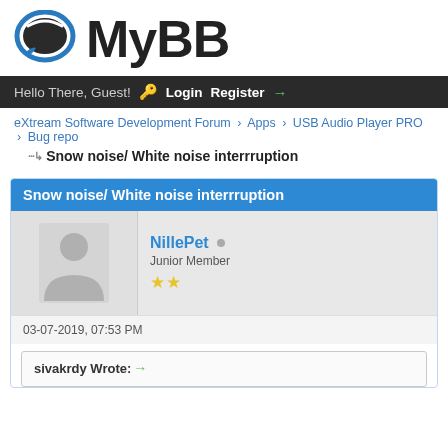[Figure (logo): MyBB forum software logo with blue speech bubble icon and bold MyBB text]
Hello There, Guest! Login Register
eXtream Software Development Forum › Apps › USB Audio Player PRO › Bug repo
Snow noise/ White noise interrruption
Snow noise/ White noise interrruption
NillePet
Junior Member
★★
03-07-2019, 07:53 PM
sivakrdy Wrote: →